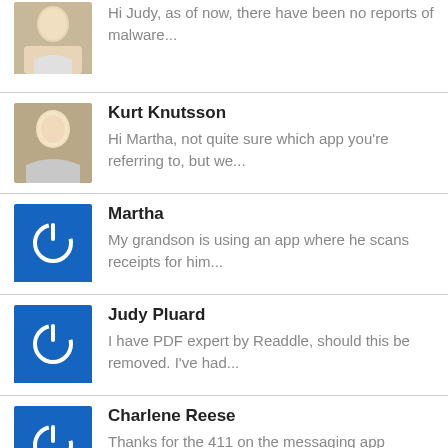Hi Judy, as of now, there have been no reports of malware...
Kurt Knutsson — Hi Martha, not quite sure which app you're referring to, but we...
Martha — My grandson is using an app where he scans receipts for him...
Judy Pluard — I have PDF expert by Readdle, should this be removed. I've had...
Charlene Reese — Thanks for the 411 on the messaging app